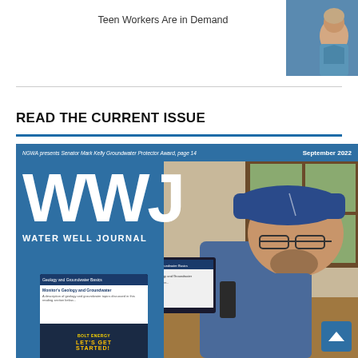Teen Workers Are in Demand
[Figure (photo): Headshot of a woman with text 'Safety Matters Alexandra Walsh' on a blue background]
READ THE CURRENT ISSUE
[Figure (photo): Cover of Water Well Journal, September 2022 issue. Shows WWJ logo in large white letters on blue background, with a person sitting at a computer desk wearing a blue and white cap and glasses. The computer screen shows a geology and groundwater website. A 'Let's Get Started' banner is visible at the bottom of the screen.]